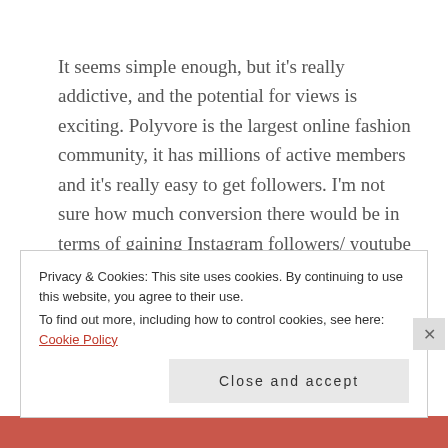It seems simple enough, but it's really addictive, and the potential for views is exciting. Polyvore is the largest online fashion community, it has millions of active members and it's really easy to get followers. I'm not sure how much conversion there would be in terms of gaining Instagram followers/ youtube subscribers, but with year old accounts having 500,000+ profile views it's bound to drive some traffic to your other more important platforms.
The images themselves are exciting too, from October to
Privacy & Cookies: This site uses cookies. By continuing to use this website, you agree to their use.
To find out more, including how to control cookies, see here: Cookie Policy
Close and accept